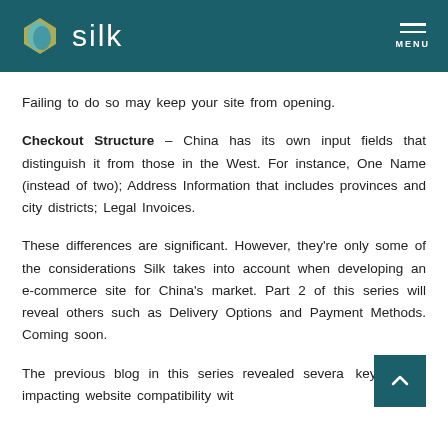silk — MENU
Failing to do so may keep your site from opening.
Checkout Structure – China has its own input fields that distinguish it from those in the West. For instance, One Name (instead of two); Address Information that includes provinces and city districts; Legal Invoices.
These differences are significant. However, they're only some of the considerations Silk takes into account when developing an e-commerce site for China's market. Part 2 of this series will reveal others such as Delivery Options and Payment Methods. Coming soon.
The previous blog in this series revealed several key factors impacting website compatibility wit